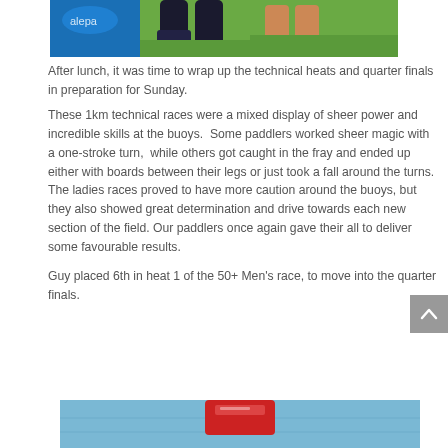[Figure (photo): Top portion of a photo showing a person's legs near a blue paddleboard on grass]
After lunch, it was time to wrap up the technical heats and quarter finals in preparation for Sunday.
These 1km technical races were a mixed display of sheer power and incredible skills at the buoys.  Some paddlers worked sheer magic with a one-stroke turn,  while others got caught in the fray and ended up either with boards between their legs or just took a fall around the turns. The ladies races proved to have more caution around the buoys, but they also showed great determination and drive towards each new section of the field. Our paddlers once again gave their all to deliver some favourable results.
Guy placed 6th in heat 1 of the 50+ Men's race, to move into the quarter finals.
[Figure (photo): Bottom portion of a photo showing water and a red object, partial view]